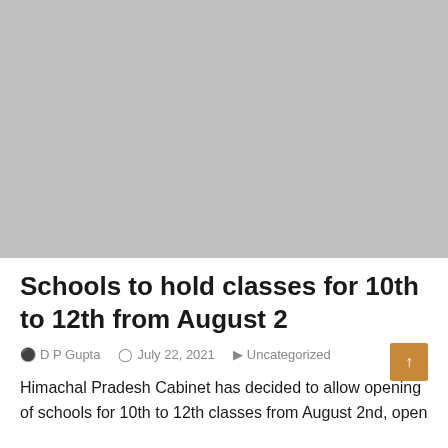[Figure (photo): Gray placeholder image occupying the top portion of the page]
Schools to hold classes for 10th to 12th from August 2
D P Gupta   July 22, 2021   Uncategorized
Himachal Pradesh Cabinet has decided to allow opening of schools for 10th to 12th classes from August 2nd, open